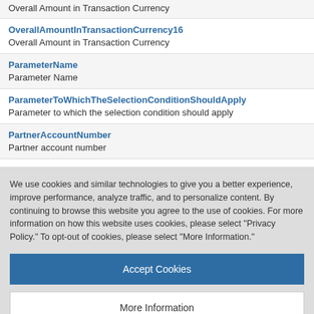Overall Amount in Transaction Currency
OverallAmountInTransactionCurrency16
Overall Amount in Transaction Currency
ParameterName
Parameter Name
ParameterToWhichTheSelectionConditionShouldApply
Parameter to which the selection condition should apply
PartnerAccountNumber
Partner account number
We use cookies and similar technologies to give you a better experience, improve performance, analyze traffic, and to personalize content. By continuing to browse this website you agree to the use of cookies. For more information on how this website uses cookies, please select “Privacy Policy.” To opt-out of cookies, please select “More Information.”
Accept Cookies
More Information
Privacy Policy | Powered by: TrustArc